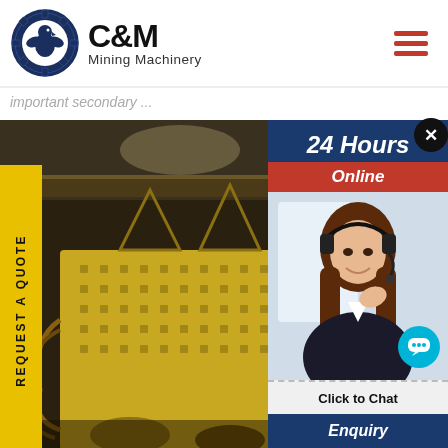[Figure (logo): C&M Mining Machinery logo with eagle gear icon]
important secondary ...
REQUEST A QUOTE
[Figure (photo): Heavy yellow mining/crushing machinery in industrial facility]
[Figure (screenshot): 24 Hours Online chat popup with customer service agent, Click to Chat, Enquiry sections]